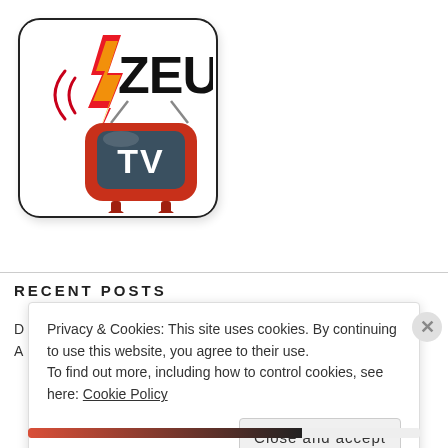[Figure (logo): Zeus TV app logo: rounded rectangle box with a red vintage television set and 'ZEUS' text with a lightning bolt icon and radio wave symbol above the TV]
RECENT POSTS
D
A
Privacy & Cookies: This site uses cookies. By continuing to use this website, you agree to their use.
To find out more, including how to control cookies, see here: Cookie Policy
Close and accept